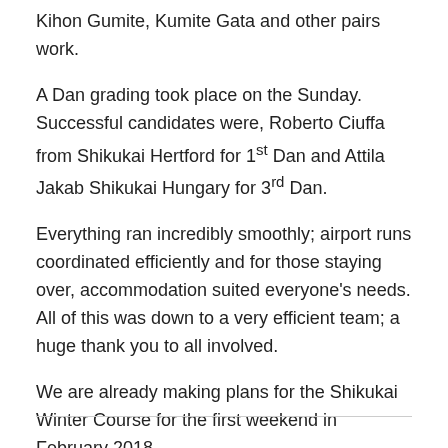Kihon Gumite, Kumite Gata and other pairs work.
A Dan grading took place on the Sunday. Successful candidates were, Roberto Ciuffa from Shikukai Hertford for 1st Dan and Attila Jakab Shikukai Hungary for 3rd Dan.
Everything ran incredibly smoothly; airport runs coordinated efficiently and for those staying over, accommodation suited everyone’s needs. All of this was down to a very efficient team; a huge thank you to all involved.
We are already making plans for the Shikukai Winter Course for the first weekend in February 2018.
Tim Shaw